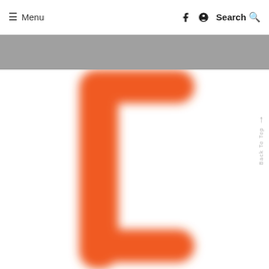≡ Menu   Search
[Figure (other): Gray banner/advertisement bar]
[Figure (logo): Large orange letter C logo, blurred/soft edges, cropped at bottom]